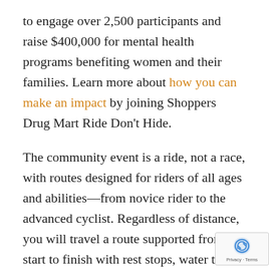to engage over 2,500 participants and raise $400,000 for mental health programs benefiting women and their families. Learn more about how you can make an impact by joining Shoppers Drug Mart Ride Don't Hide.
The community event is a ride, not a race, with routes designed for riders of all ages and abilities—from novice rider to the advanced cyclist. Regardless of distance, you will travel a route supported from start to finish with rest stops, water to fuel the journey, and fans to cheer you on! In addition to the benefits of physical activity, you will be helping break the stigma associated with mental illnes… joining the Shoppers Drug Mart Ride Don't Hide